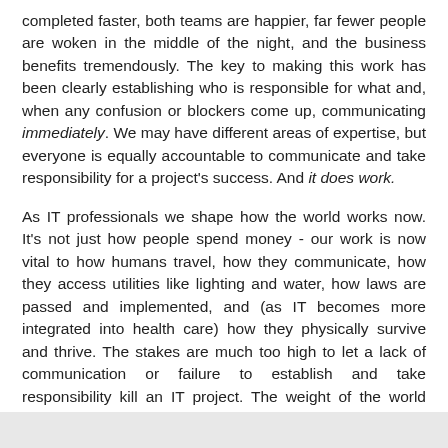completed faster, both teams are happier, far fewer people are woken in the middle of the night, and the business benefits tremendously. The key to making this work has been clearly establishing who is responsible for what and, when any confusion or blockers come up, communicating immediately. We may have different areas of expertise, but everyone is equally accountable to communicate and take responsibility for a project's success. And it does work.
As IT professionals we shape how the world works now. It's not just how people spend money - our work is now vital to how humans travel, how they communicate, how they access utilities like lighting and water, how laws are passed and implemented, and (as IT becomes more integrated into health care) how they physically survive and thrive. The stakes are much too high to let a lack of communication or failure to establish and take responsibility kill an IT project. The weight of the world rests on our shoulders now - we have that great power. It's time to not only meet but embrace that responsibility!